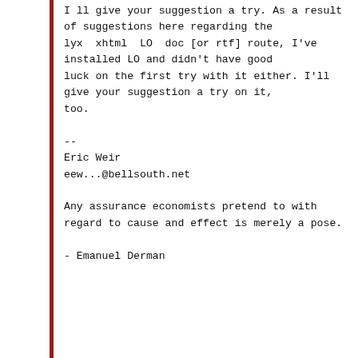I ll give your suggestion a try. As a result of suggestions here regarding the lyx  xhtml  LO  doc [or rtf] route, I've installed LO and didn't have good luck on the first try with it either. I'll give your suggestion a try on it, too.

--
Eric Weir
eew...@bellsouth.net

Any assurance economists pretend to with regard to cause and effect is merely a pose.

- Emanuel Derman